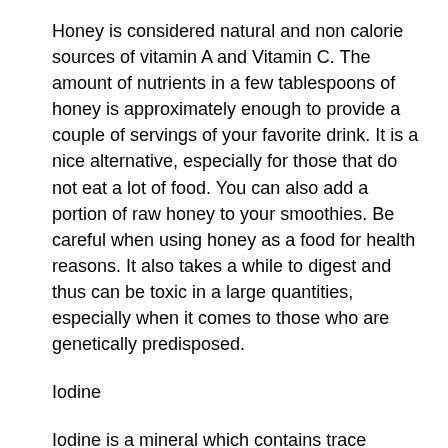Honey is considered natural and non calorie sources of vitamin A and Vitamin C. The amount of nutrients in a few tablespoons of honey is approximately enough to provide a couple of servings of your favorite drink. It is a nice alternative, especially for those that do not eat a lot of food. You can also add a portion of raw honey to your smoothies. Be careful when using honey as a food for health reasons. It also takes a while to digest and thus can be toxic in a large quantities, especially when it comes to those who are genetically predisposed.
Iodine
Iodine is a mineral which contains trace amounts of calcium and is essential for bone development. The absorption of any